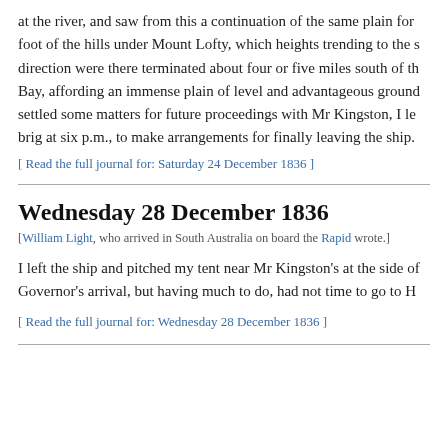at the river, and saw from this a continuation of the same plain for foot of the hills under Mount Lofty, which heights trending to the s direction were there terminated about four or five miles south of th Bay, affording an immense plain of level and advantageous ground settled some matters for future proceedings with Mr Kingston, I le brig at six p.m., to make arrangements for finally leaving the ship.
[ Read the full journal for: Saturday 24 December 1836 ]
Wednesday 28 December 1836
[William Light, who arrived in South Australia on board the Rapid wrote.]
I left the ship and pitched my tent near Mr Kingston's at the side o Governor's arrival, but having much to do, had not time to go to H
[ Read the full journal for: Wednesday 28 December 1836 ]